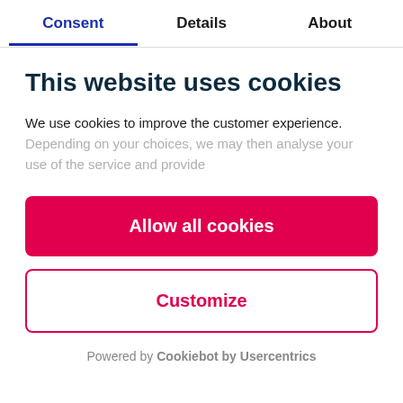Consent | Details | About
This website uses cookies
We use cookies to improve the customer experience. Depending on your choices, we may then analyse your use of the service and provide
Allow all cookies
Customize
Powered by Cookiebot by Usercentrics